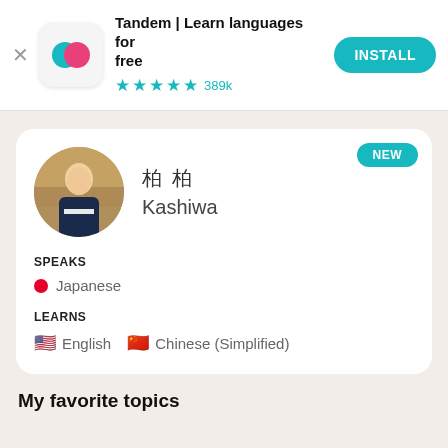[Figure (screenshot): App banner for Tandem language learning app with icon, title, star rating, and install button]
Tandem | Learn languages for free
★★★★½ 389k
[Figure (photo): Circular profile photo of a young man in a suit standing with arms crossed in a restaurant setting]
柏 Kashiwa
SPEAKS
Japanese
LEARNS
English  Chinese (Simplified)
My favorite topics